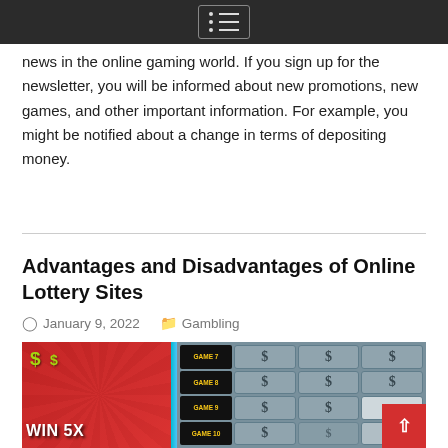Navigation menu
news in the online gaming world. If you sign up for the newsletter, you will be informed about new promotions, new games, and other important information. For example, you might be notified about a change in terms of depositing money.
Advantages and Disadvantages of Online Lottery Sites
January 9, 2022   Gambling
[Figure (photo): A scratch card lottery ticket showing 'WIN 5X' on the left side with dollar sign symbols and coin graphics, and a grid of scratch-off tiles labeled GAME 7, GAME 8, GAME 9, GAME 10 on the right side with dollar sign tiles, with a finger partially scratching one tile.]